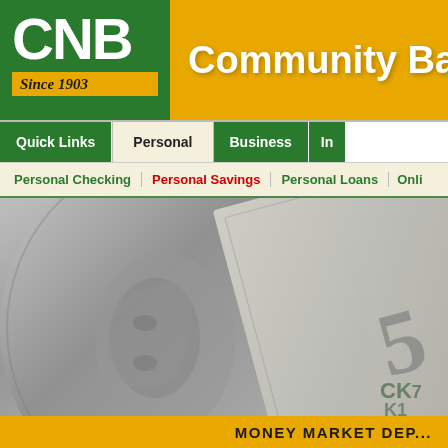[Figure (logo): CNB bank logo with green background, white bold text 'CNB', and gold 'Since 1903' banner below]
Community Banking
Quick Links | Personal | Business | I...
Personal Checking | Personal Savings | Personal Loans | Onli...
[Figure (photo): Close-up black and white photo of US currency bills (Lincoln on penny/coin, $5 and $50 bills visible)]
MONEY MARKET DEP...